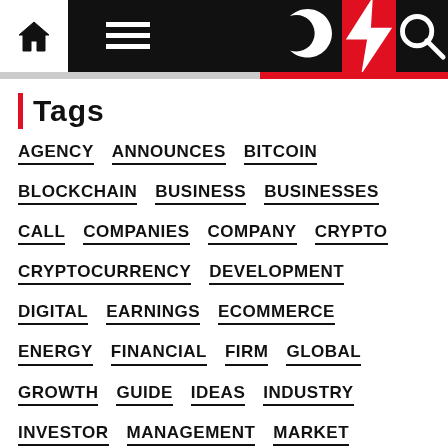Navigation bar with home, menu, moon, lightning, and search icons
Tags
AGENCY
ANNOUNCES
BITCOIN
BLOCKCHAIN
BUSINESS
BUSINESSES
CALL
COMPANIES
COMPANY
CRYPTO
CRYPTOCURRENCY
DEVELOPMENT
DIGITAL
EARNINGS
ECOMMERCE
ENERGY
FINANCIAL
FIRM
GLOBAL
GROWTH
GUIDE
IDEAS
INDUSTRY
INVESTOR
MANAGEMENT
MARKET
MARKETING
MEDIA
MILLION
MINERS
MINING
NEWS
ONLINE
QUARTER
REPORT
RESULTS
RISK
SEO
SERVICES
SMALL
STOCK
SUPPLY
TOP
TRENDS
YEAR